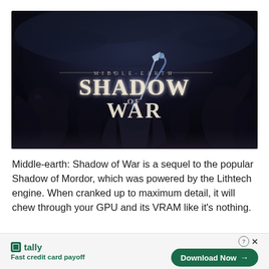[Figure (illustration): Middle-earth: Shadow of War game promotional image. Dark fantasy setting with multiple monstrous and warrior characters arranged against a stormy dark sky. Center text reads 'MIDDLE-EARTH SHADOW OF WAR' in large stylized lettering.]
Middle-earth: Shadow of War is a sequel to the popular Shadow of Mordor, which was powered by the Lithtech engine. When cranked up to maximum detail, it will chew through your GPU and its VRAM like it's nothing.
[Figure (screenshot): Advertisement banner: Tally app ad with green branding. Left side shows Tally logo and tagline 'Fast credit card payoff'. Right side shows a green rounded 'Download Now →' button with a help (?) and close (X) button above it.]